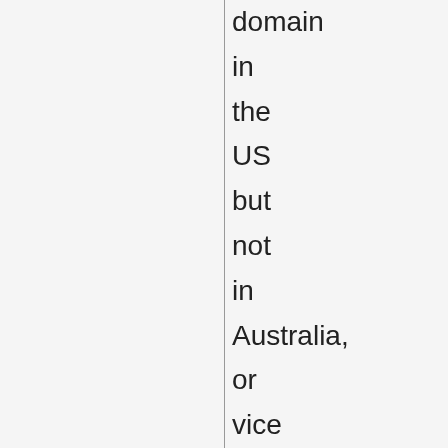domain in the US but not in Australia, or vice versa. It is important to note